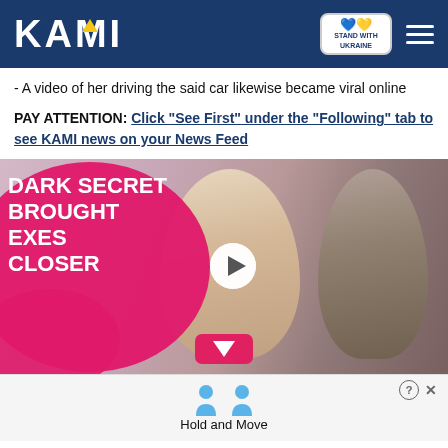KAMI — Stand with Ukraine
- A video of her driving the said car likewise became viral online
PAY ATTENTION: Click "See First" under the "Following" tab to see KAMI news on your News Feed
[Figure (photo): Advertisement image showing two celebrities (a blonde woman and a dark-haired man) with text overlay 'DARK SECRET BROUGHT EXES CLOSER' on a pink blob background, with a play button in the center and a down-arrow button at the bottom.]
[Figure (photo): Bottom advertisement bar with small person icons and text 'Hold and Move', with a question mark circle icon and X close button in the top right.]